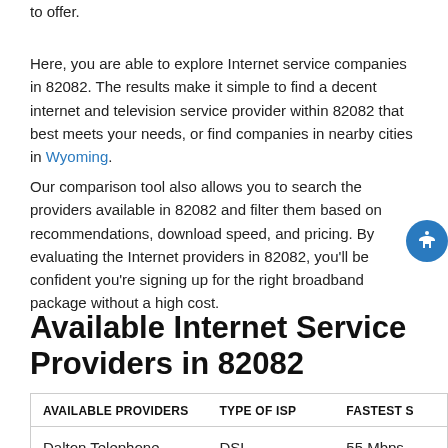to offer.
Here, you are able to explore Internet service companies in 82082. The results make it simple to find a decent internet and television service provider within 82082 that best meets your needs, or find companies in nearby cities in Wyoming.
Our comparison tool also allows you to search the providers available in 82082 and filter them based on recommendations, download speed, and pricing. By evaluating the Internet providers in 82082, you'll be confident you're signing up for the right broadband package without a high cost.
Available Internet Service Providers in 82082
| AVAILABLE PROVIDERS | TYPE OF ISP | FASTEST S |
| --- | --- | --- |
| Dalton Telephone | DSL | 55 Mbps |